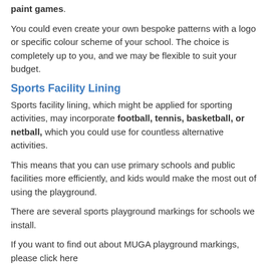paint games.
You could even create your own bespoke patterns with a logo or specific colour scheme of your school. The choice is completely up to you, and we may be flexible to suit your budget.
Sports Facility Lining
Sports facility lining, which might be applied for sporting activities, may incorporate football, tennis, basketball, or netball, which you could use for countless alternative activities.
This means that you can use primary schools and public facilities more efficiently, and kids would make the most out of using the playground.
There are several sports playground markings for schools we install.
If you want to find out about MUGA playground markings, please click here
https://www.thermoplasticplaygroundmarkings.co.uk/activities/muga/co